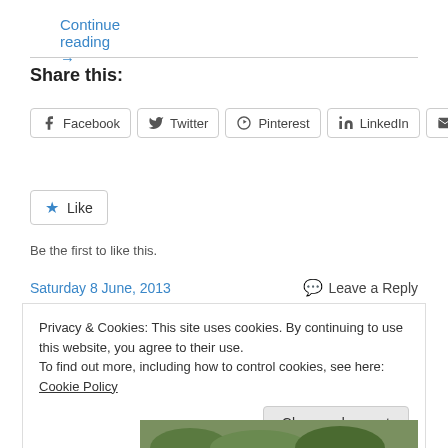Continue reading →
Share this:
Facebook  Twitter  Pinterest  LinkedIn  Email
Like
Be the first to like this.
Saturday 8 June, 2013
Leave a Reply
Privacy & Cookies: This site uses cookies. By continuing to use this website, you agree to their use. To find out more, including how to control cookies, see here: Cookie Policy
Close and accept
[Figure (photo): Outdoor photo strip at bottom of page showing trees and greenery]